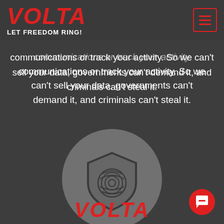VOLTA LET FREEDOM RING!
communications or track your activity. So we can't sell your data, governments can't demand it, and criminals can't steal it.
[Figure (illustration): Gray circle containing a shield icon with a fingerprint/privacy symbol inside it, on a dark gray background]
VOLTA